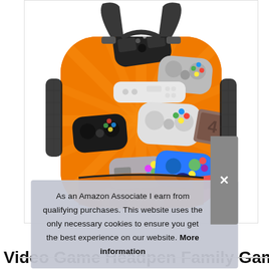[Figure (photo): A backpack with an orange background pattern featuring multiple video game controllers (PS, Xbox, Wii, NES, GameCube, Switch, SNES styles). The backpack has mesh side pockets and black straps.]
As an Amazon Associate I earn from qualifying purchases. This website uses the only necessary cookies to ensure you get the best experience on our website. More information
Video Game Headpen Family Gamer